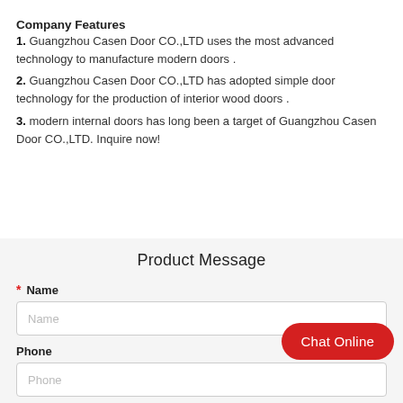Company Features
1. Guangzhou Casen Door CO.,LTD uses the most advanced technology to manufacture modern doors .
2. Guangzhou Casen Door CO.,LTD has adopted simple door technology for the production of interior wood doors .
3. modern internal doors has long been a target of Guangzhou Casen Door CO.,LTD. Inquire now!
Product Message
* Name
Phone